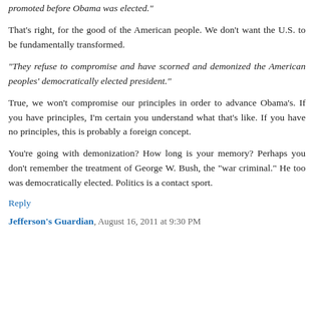promoted before Obama was elected."
That's right, for the good of the American people. We don't want the U.S. to be fundamentally transformed.
"They refuse to compromise and have scorned and demonized the American peoples' democratically elected president."
True, we won't compromise our principles in order to advance Obama's. If you have principles, I'm certain you understand what that's like. If you have no principles, this is probably a foreign concept.
You're going with demonization? How long is your memory? Perhaps you don't remember the treatment of George W. Bush, the "war criminal." He too was democratically elected. Politics is a contact sport.
Reply
Jefferson's Guardian, August 16, 2011 at 9:30 PM